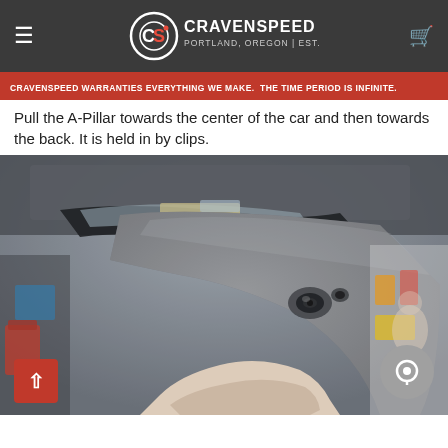CravenSpeed — Portland, Oregon | Est. 2005
CRAVENSPEED WARRANTIES EVERYTHING WE MAKE. THE TIME PERIOD IS INFINITE.
Pull the A-Pillar towards the center of the car and then towards the back. It is held in by clips.
[Figure (photo): Close-up photo of a car A-Pillar trim panel being pulled away from the car interior, showing the clips and interior space behind it, with a garage background visible.]